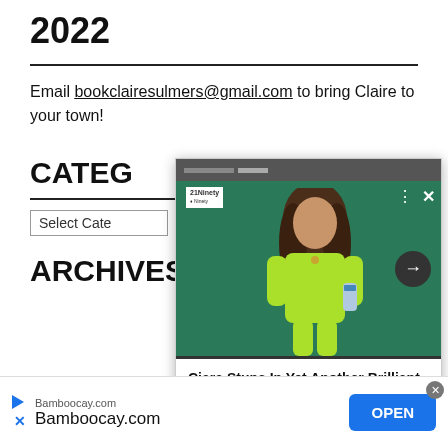2022
Email bookclairesulmers@gmail.com to bring Claire to your town!
CATEGORIES
Select Category
ARCHIVES
[Figure (screenshot): Pop-up card showing a woman in a bright green outfit holding a can, on a green background, with caption: Ciara Stuns In Yet Another Brilliant Outfit For Ten To One Rum Party - 21Ninety]
[Figure (infographic): Ad banner at bottom: Bamboocay.com with OPEN button]